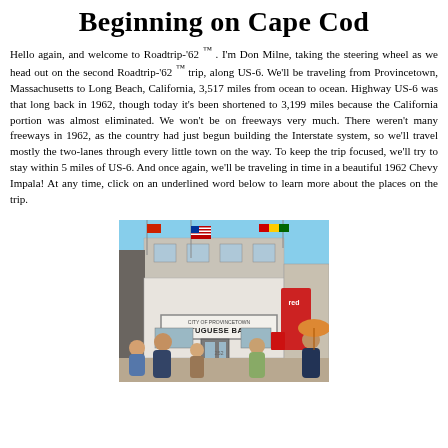Beginning on Cape Cod
Hello again, and welcome to Roadtrip-'62 ™ . I'm Don Milne, taking the steering wheel as we head out on the second Roadtrip-'62 ™ trip, along US-6. We'll be traveling from Provincetown, Massachusetts to Long Beach, California, 3,517 miles from ocean to ocean. Highway US-6 was that long back in 1962, though today it's been shortened to 3,199 miles because the California portion was almost eliminated. We won't be on freeways very much. There weren't many freeways in 1962, as the country had just begun building the Interstate system, so we'll travel mostly the two-lanes through every little town on the way. To keep the trip focused, we'll try to stay within 5 miles of US-6. And once again, we'll be traveling in time in a beautiful 1962 Chevy Impala! At any time, click on an underlined word below to learn more about the places on the trip.
[Figure (photo): Street-level photo of the Provincetown Portuguese Bakery storefront with flags (US, red, and green/yellow/red), pedestrians in front, and a red awning on the right side.]